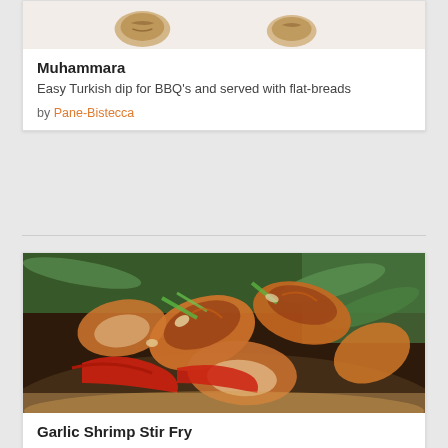[Figure (photo): Partial top view of a food photo showing what appears to be a walnut on a white/cream background, top portion of a recipe card]
Muhammara
Easy Turkish dip for BBQ's and served with flat-breads
by Pane-Bistecca
[Figure (photo): Close-up photo of Garlic Shrimp Stir Fry dish showing succulent shrimp, snow peas, red chili peppers, and green onions in a glossy garlic sauce on a plate]
Garlic Shrimp Stir Fry
This easy Garlic Shrimp Stir Fry brings together broccoli, crisp snow peas, sweet red bell pepper, onion and succulent shrimp in a mouthwatering